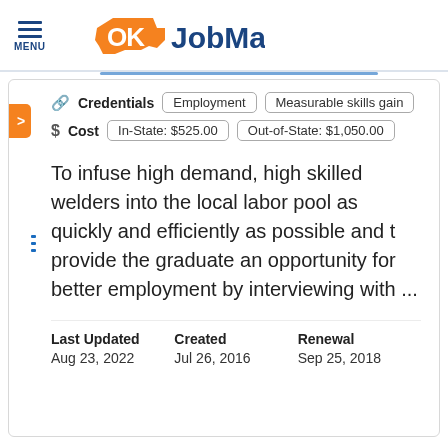[Figure (logo): OK JobMatch logo with Oklahoma state outline graphic in orange, 'OK' in orange, 'JobMatch' in dark blue, hamburger menu icon with MENU label on left]
Credentials  Employment  Measurable skills gain
$ Cost  In-State: $525.00  Out-of-State: $1,050.00
To infuse high demand, high skilled welders into the local labor pool as quickly and efficiently as possible and t provide the graduate an opportunity for better employment by interviewing with ...
| Last Updated | Created | Renewal |
| --- | --- | --- |
| Aug 23, 2022 | Jul 26, 2016 | Sep 25, 2018 |